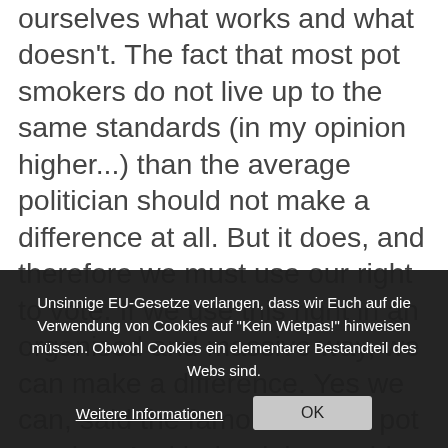ourselves what works and what doesn't. The fact that most pot smokers do not live up to the same standards (in my opinion higher...) than the average politician should not make a difference at all. But it does, and therefore we must use our right to vote. If we use this right in an organised and massive way, we can make a difference. Yes we can, said the famous former pot smoker. And indeed, he could. So why can't you?! Stand up for your rights and try to make clear to everybody that a pot smoker makes a well-balanced choice in his/her way of life. There is nothing ... pothead for 35 years and ... p owner for almost 30 years now, and I am still extremely proud and happy with my line of
Unsinnige EU-Gesetze verlangen, dass wir Euch auf die Verwendung von Cookies auf "Kein Wietpas!" hinweisen müssen. Obwohl Cookies ein elementarer Bestandteil des Webs sind.
Weitere Informationen
OK